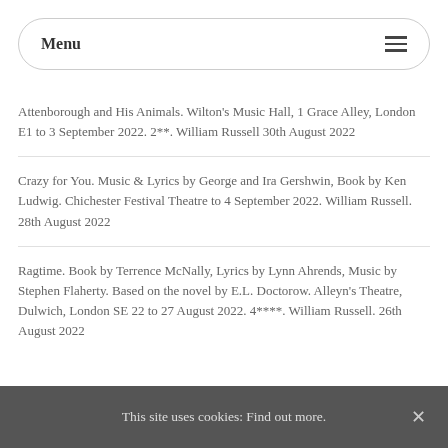Menu
Attenborough and His Animals. Wilton's Music Hall, 1 Grace Alley, London E1 to 3 September 2022. 2**. William Russell 30th August 2022
Crazy for You. Music & Lyrics by George and Ira Gershwin, Book by Ken Ludwig. Chichester Festival Theatre to 4 September 2022. William Russell. 28th August 2022
Ragtime. Book by Terrence McNally, Lyrics by Lynn Ahrends, Music by Stephen Flaherty. Based on the novel by E.L. Doctorow. Alleyn's Theatre, Dulwich, London SE 22 to 27 August 2022. 4****. William Russell. 26th August 2022
This site uses cookies: Find out more.